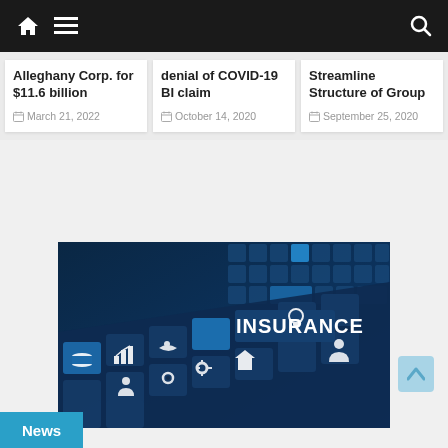Navigation bar with home, menu, and search icons
Alleghany Corp. for $11.6 billion
March 21, 2022
denial of COVID-19 BI claim
October 14, 2020
Streamline Structure of Group
September 25, 2020
[Figure (photo): Insurance concept image showing blue tiles with various insurance-related icons and the word INSURANCE prominently displayed]
News